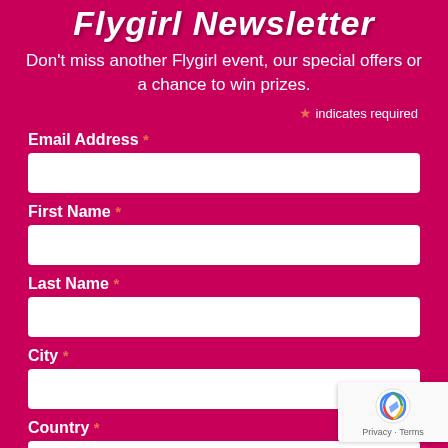Flygirl Newsletter
Don't miss another Flygirl event, our special offers or a chance to win prizes.
* indicates required
Email Address *
First Name *
Last Name *
City *
Country *